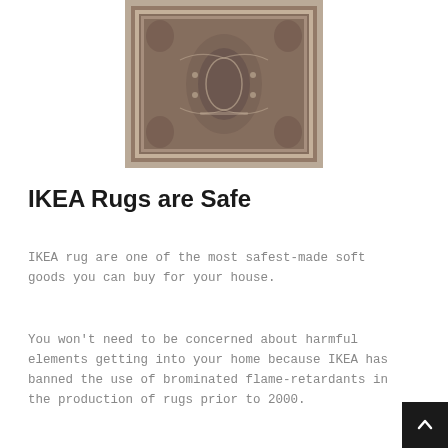[Figure (photo): A decorative Persian-style rug with ornate floral and medallion patterns in muted brown, beige, and grey tones, shown from above.]
IKEA Rugs are Safe
IKEA rug are one of the most safest-made soft goods you can buy for your house.
You won't need to be concerned about harmful elements getting into your home because IKEA has banned the use of brominated flame-retardants in the production of rugs prior to 2000.